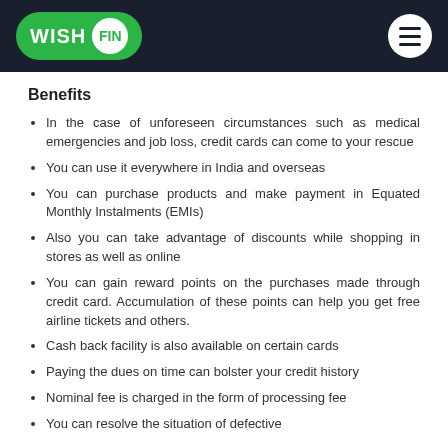WISH FIN
Benefits
In the case of unforeseen circumstances such as medical emergencies and job loss, credit cards can come to your rescue
You can use it everywhere in India and overseas
You can purchase products and make payment in Equated Monthly Instalments (EMIs)
Also you can take advantage of discounts while shopping in stores as well as online
You can gain reward points on the purchases made through credit card. Accumulation of these points can help you get free airline tickets and others.
Cash back facility is also available on certain cards
Paying the dues on time can bolster your credit history
Nominal fee is charged in the form of processing fee
You can resolve the situation of defective